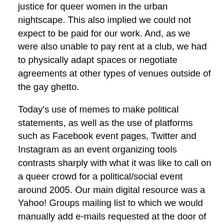justice for queer women in the urban nightscape. This also implied we could not expect to be paid for our work. And, as we were also unable to pay rent at a club, we had to physically adapt spaces or negotiate agreements at other types of venues outside of the gay ghetto.
Today's use of memes to make political statements, as well as the use of platforms such as Facebook event pages, Twitter and Instagram as an event organizing tools contrasts sharply with what it was like to call on a queer crowd for a political/social event around 2005. Our main digital resource was a Yahoo! Groups mailing list to which we would manually add e-mails requested at the door of our events. We also advertised in the local LGBT free weeklies. But, the first point of contact were flyers we'd drop off at businesses or hand-out outside “ladies’ nights” events.
In this paper I establish that the simultaneous use of paper-based and e-mail group based strategies Meras efimeras employed around 2005 constitute a presocial